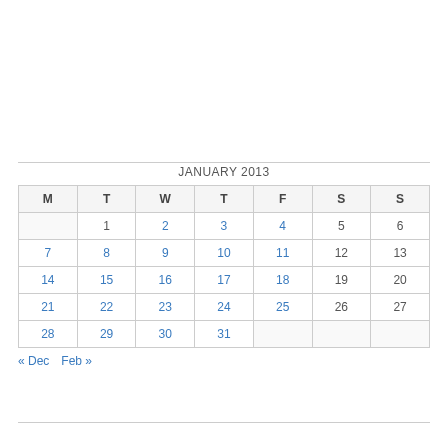| M | T | W | T | F | S | S |
| --- | --- | --- | --- | --- | --- | --- |
|  | 1 | 2 | 3 | 4 | 5 | 6 |
| 7 | 8 | 9 | 10 | 11 | 12 | 13 |
| 14 | 15 | 16 | 17 | 18 | 19 | 20 |
| 21 | 22 | 23 | 24 | 25 | 26 | 27 |
| 28 | 29 | 30 | 31 |  |  |  |
« Dec   Feb »